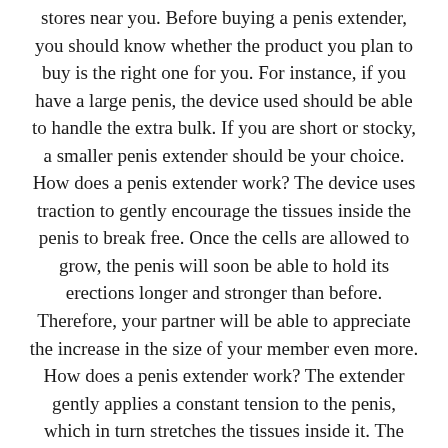stores near you. Before buying a penis extender, you should know whether the product you plan to buy is the right one for you. For instance, if you have a large penis, the device used should be able to handle the extra bulk. If you are short or stocky, a smaller penis extender should be your choice. How does a penis extender work? The device uses traction to gently encourage the tissues inside the penis to break free. Once the cells are allowed to grow, the penis will soon be able to hold its erections longer and stronger than before. Therefore, your partner will be able to appreciate the increase in the size of your member even more. How does a penis extender work? The extender gently applies a constant tension to the penis, which in turn stretches the tissues inside it. The penis extender gently pushes the tissue towards the opening of the penis, where it gradually pushes the entire organ out of the penis. Since the penis extenders gently applies traction, they are less likely to cause harm